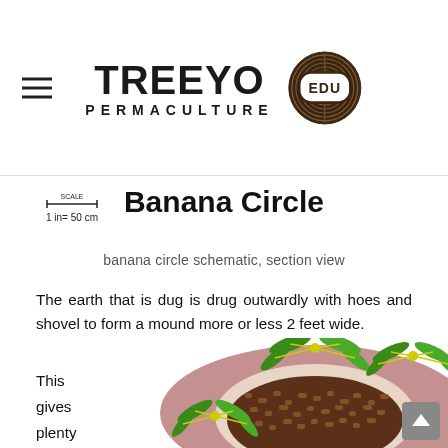[Figure (logo): TreeYo Permaculture EDU logo with tree ring badge]
[Figure (schematic): Scale bar indicating 1 in = 50 cm]
Banana Circle
banana circle schematic, section view
The earth that is dug is drug outwardly with hoes and shovel to form a mound more or less 2 feet wide.
This gives plenty of
[Figure (illustration): Banana circle top-view illustration showing banana plants arranged in a circle around a central pit with mulch/compost, on a pink/mauve mound]